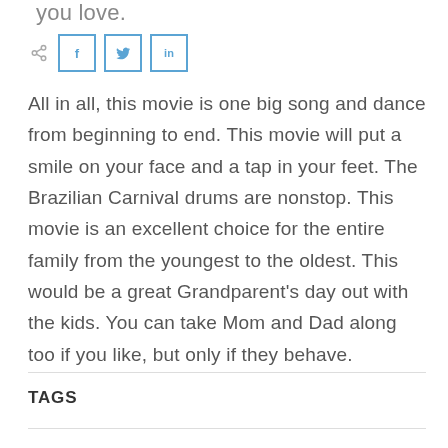you love.
[Figure (other): Share bar with share icon and three social media buttons: Facebook (f), Twitter (bird icon), LinkedIn (in)]
All in all, this movie is one big song and dance from beginning to end. This movie will put a smile on your face and a tap in your feet. The Brazilian Carnival drums are nonstop. This movie is an excellent choice for the entire family from the youngest to the oldest. This would be a great Grandparent's day out with the kids. You can take Mom and Dad along too if you like, but only if they behave.
TAGS